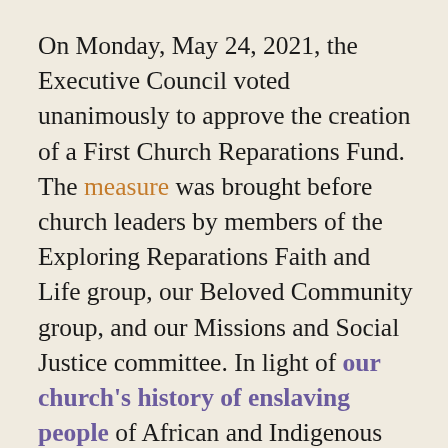On Monday, May 24, 2021, the Executive Council voted unanimously to approve the creation of a First Church Reparations Fund. The measure was brought before church leaders by members of the Exploring Reparations Faith and Life group, our Beloved Community group, and our Missions and Social Justice committee. In light of our church's history of enslaving people of African and Indigenous descent, recent discussions about reparations, and focus groups with members of local communities who have been harmed by our actions, we feel called by the Spirit to take this first step of creating a fund to which individuals may contribute. Funds raised will be given, on an